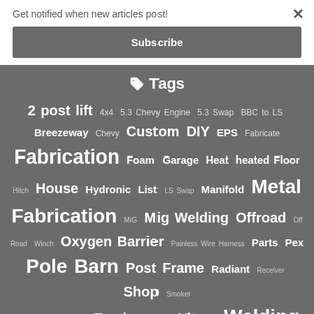Get notified when new articles post!
Subscribe
Tags
2 post lift 4x4 5.3 Chevy Engine 5.3 Swap BBC to LS Breezeway Chevy Custom DIY EPS Fabricate Fabrication Foam Garage Heat heated Floor Hitch House Hydronic List LS Swap Manifold Metal Fabrication MIG Mig Welding Offroad Off Road Winch Oxygen Barrier Painless Wire Harness Parts Pex Pole Barn Post Frame Radiant Receiver Shop Smoker Staple Suzuki Tracker Trailer Vitara Welding Winch Mount XPS